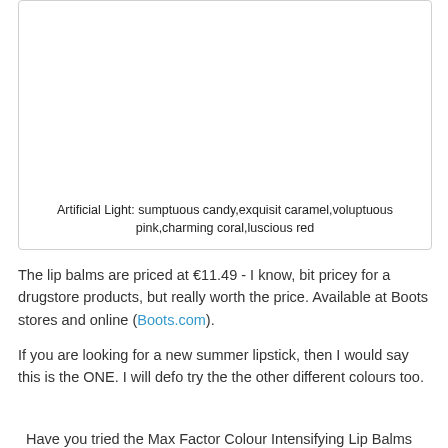[Figure (photo): Image of lip balm products under artificial light showing various shades]
Artificial Light: sumptuous candy,exquisit caramel,voluptuous pink,charming coral,luscious red
The lip balms are priced at €11.49 - I know, bit pricey for a drugstore products, but really worth the price. Available at Boots stores and online (Boots.com).
If you are looking for a new summer lipstick, then I would say this is the ONE. I will defo try the the other different colours too.
Have you tried the Max Factor Colour Intensifying Lip Balms